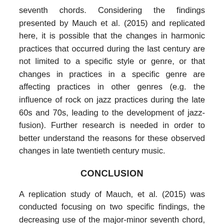seventh chords. Considering the findings presented by Mauch et al. (2015) and replicated here, it is possible that the changes in harmonic practices that occurred during the last century are not limited to a specific style or genre, or that changes in practices in a specific genre are affecting practices in other genres (e.g. the influence of rock on jazz practices during the late 60s and 70s, leading to the development of jazz-fusion). Further research is needed in order to better understand the reasons for these observed changes in late twentieth century music.
CONCLUSION
A replication study of Mauch, et al. (2015) was conducted focusing on two specific findings, the decreasing use of the major-minor seventh chord, and increasing use of the minor-minor seventh chord. While the original study was conducted using signal analysis to extrapolate musical properties from audio files, this paper aimed to replicate these findings using instead curated harmonic transcriptions. The results reported here are significant for two main reasons. First, they replicate the findings presented in the original study, tracing a change in harmonic